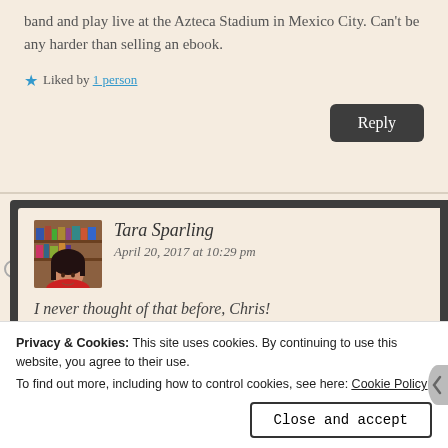band and play live at the Azteca Stadium in Mexico City. Can't be any harder than selling an ebook.
Liked by 1 person
Reply
Tara Sparling
April 20, 2017 at 10:29 pm
I never thought of that before, Chris!
Privacy & Cookies: This site uses cookies. By continuing to use this website, you agree to their use.
To find out more, including how to control cookies, see here: Cookie Policy
Close and accept